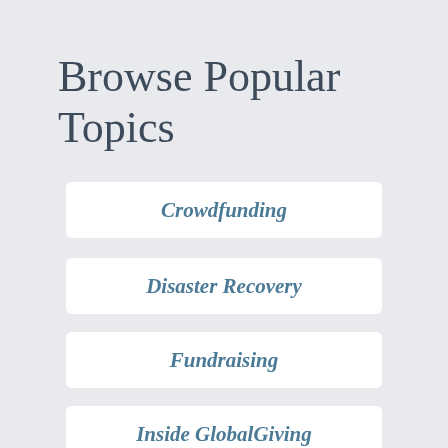Browse Popular Topics
Crowdfunding
Disaster Recovery
Fundraising
Inside GlobalGiving
Listen>Act>Learn. Repeat.